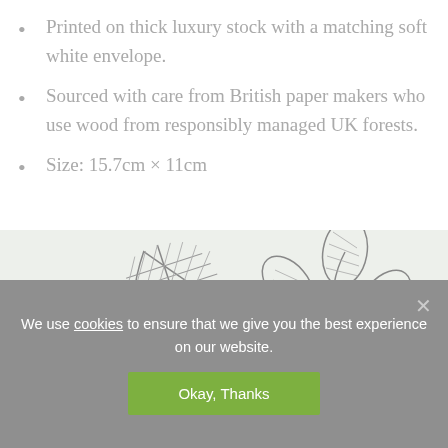Printed on thick luxury stock with a matching soft white envelope.
Sourced with care from British paper makers who use wood from responsibly managed UK forests.
Size: 15.7cm × 11cm
[Figure (illustration): Light green/grey background with two hand-drawn sketch illustrations of leaves: a large feather-shaped leaf with cross-hatching on the left, and a small branch with three oval leaves with hatching on the right.]
We use cookies to ensure that we give you the best experience on our website.
Okay, Thanks